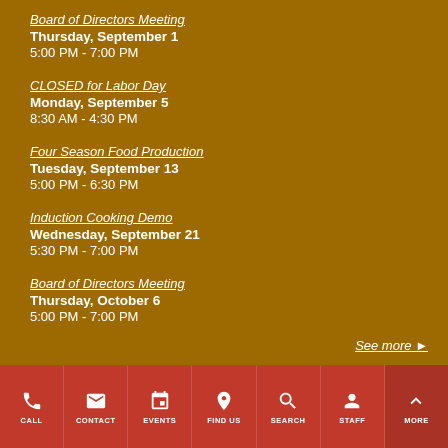Board of Directors Meeting
Thursday, September 1
5:00 PM - 7:00 PM
CLOSED for Labor Day
Monday, September 5
8:30 AM - 4:30 PM
Four Season Food Production
Tuesday, September 13
5:00 PM - 6:30 PM
Induction Cooking Demo
Wednesday, September 21
5:30 PM - 7:00 PM
Board of Directors Meeting
Thursday, October 6
5:00 PM - 7:00 PM
See more ▶
CALL  CONTACT  EVENTS  FIND US  SEARCH  STAFF  MORE